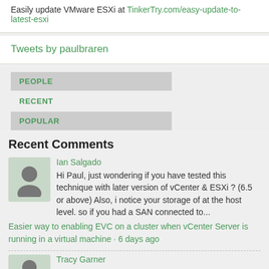Easily update VMware ESXi at TinkerTry.com/easy-update-to-latest-esxi
Tweets by paulbraren
PEOPLE
RECENT
POPULAR
Recent Comments
Ian Salgado
Hi Paul, just wondering if you have tested this technique with later version of vCenter & ESXi ? (6.5 or above) Also, i notice your storage of at the host level. so if you had a SAN connected to...
Easier way to enabling EVC on a cluster when vCenter Server is running in a virtual machine · 6 days ago
Tracy Garner